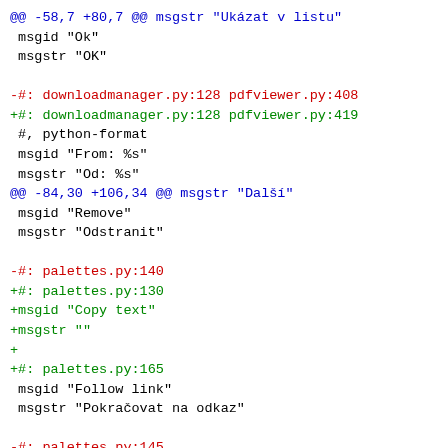@@ -58,7 +80,7 @@ msgstr "Ukázat v listu"
 msgid "Ok"
 msgstr "OK"

-#: downloadmanager.py:128 pdfviewer.py:408
+#: downloadmanager.py:128 pdfviewer.py:419
 #, python-format
 msgid "From: %s"
 msgstr "Od: %s"
@@ -84,30 +106,34 @@ msgstr "Další"
 msgid "Remove"
 msgstr "Odstranit"

-#: palettes.py:140
+#: palettes.py:130
+msgid "Copy text"
+msgstr ""
+
+#: palettes.py:165
 msgid "Follow link"
 msgstr "Pokračovat na odkaz"

-#: palettes.py:145
+#: palettes.py:170
 msgid "Follow link in new tab"
 msgstr "Pokračovat na odkaz v nové kartě"

-#: palettes.py:151
+#: palettes.py:176
 msgid "Keep link"